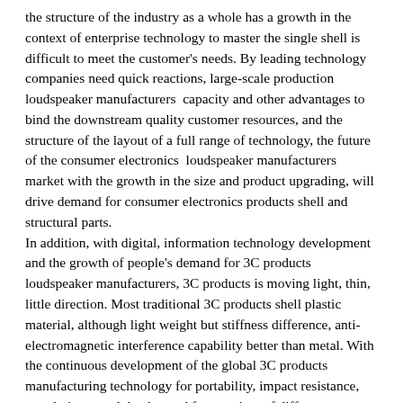the structure of the industry as a whole has a growth in the context of enterprise technology to master the single shell is difficult to meet the customer's needs. By leading technology companies need quick reactions, large-scale production loudspeaker manufacturers  capacity and other advantages to bind the downstream quality customer resources, and the structure of the layout of a full range of technology, the future of the consumer electronics  loudspeaker manufacturers market with the growth in the size and product upgrading, will drive demand for consumer electronics products shell and structural parts.
In addition, with digital, information technology development and the growth of people's demand for 3C products  loudspeaker manufacturers, 3C products is moving light, thin, little direction. Most traditional 3C products shell plastic material, although light weight but stiffness difference, anti-electromagnetic interference capability better than metal. With the continuous development of the global 3C products manufacturing technology for portability, impact resistance, greatly increased the demand for a variety of different environmental products, equipment, and therefore the direction of alternative materials has become the focus of